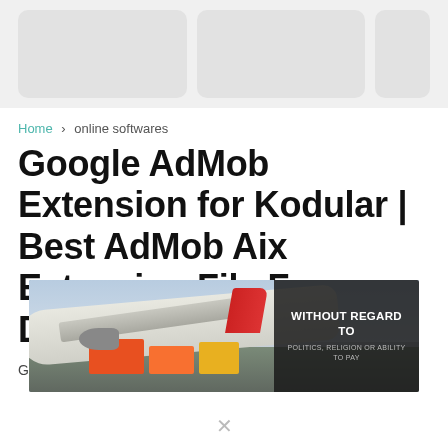[Figure (other): Three placeholder image cards in a row at the top of the page — two larger rounded grey rectangles and one partial on the right]
Home › online softwares
Google AdMob Extension for Kodular | Best AdMob Aix Extension File Free Download
G...
[Figure (photo): Advertisement banner showing a cargo airplane being loaded, with text overlay reading 'WITHOUT REGARD TO POLITICS, RELIGION OR ABILITY TO PAY']